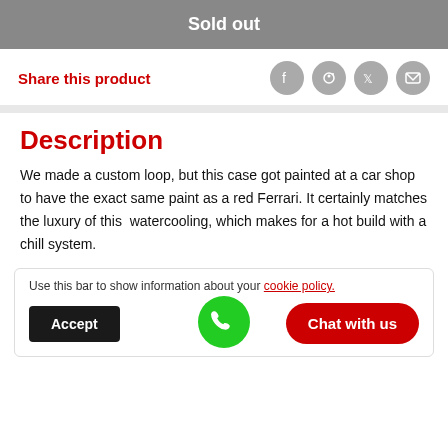Sold out
Share this product
Description
We made a custom loop, but this case got painted at a car shop to have the exact same paint as a red Ferrari. It certainly matches the luxury of this  watercooling, which makes for a hot build with a chill system.
Use this bar to show information about your cookie policy.
Accept
Chat with us